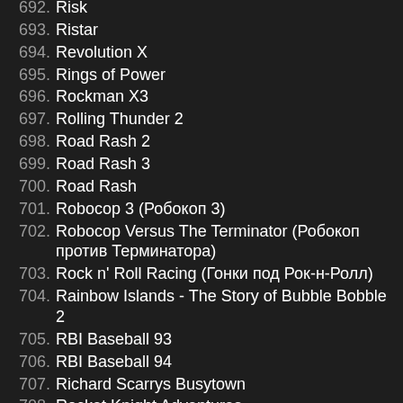692. Risk
693. Ristar
694. Revolution X
695. Rings of Power
696. Rockman X3
697. Rolling Thunder 2
698. Road Rash 2
699. Road Rash 3
700. Road Rash
701. Robocop 3 (Робокоп 3)
702. Robocop Versus The Terminator (Робокоп против Терминатора)
703. Rock n' Roll Racing (Гонки под Рок-н-Ролл)
704. Rainbow Islands - The Story of Bubble Bobble 2
705. RBI Baseball 93
706. RBI Baseball 94
707. Richard Scarrys Busytown
708. Rocket Knight Adventures
709. Roger Clemens MVP Baseball
710. Rolo to the Rescue
711. Romance of the Three Kingdoms 2